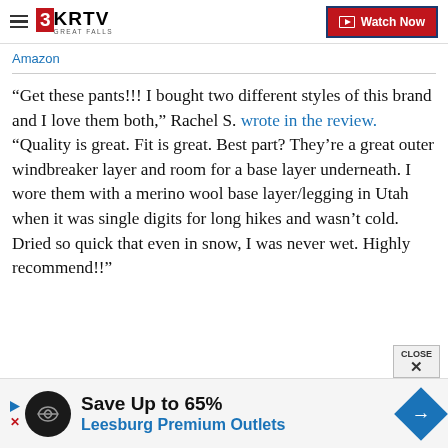3KRTV Great Falls | Watch Now
Amazon
“Get these pants!!! I bought two different styles of this brand and I love them both,” Rachel S. wrote in the review. “Quality is great. Fit is great. Best part? They’re a great outer windbreaker layer and room for a base layer underneath. I wore them with a merino wool base layer/legging in Utah when it was single digits for long hikes and wasn’t cold. Dried so quick that even in snow, I was never wet. Highly recommend!!”
[Figure (screenshot): Advertisement banner: Save Up to 65% Leesburg Premium Outlets]